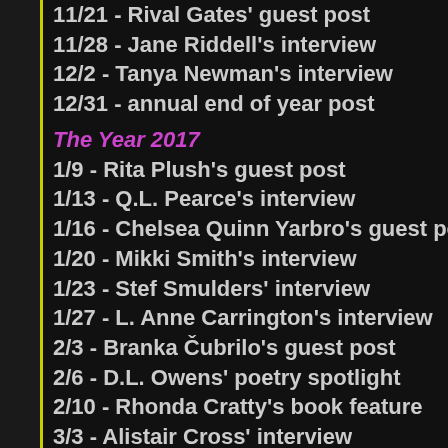11/21 - Rival Gates' guest post
11/28 - Jane Riddell's interview
12/2 - Tanya Newman's interview
12/31 - annual end of year post
The Year 2017
1/9 - Rita Plush's guest post
1/13 - Q.L. Pearce's interview
1/16 - Chelsea Quinn Yarbro's guest post
1/20 - Mikki Smith's interview
1/23 - Stef Smulders' interview
1/27 - L. Anne Carrington's interview
2/3 - Branka Čubrilo's guest post
2/6 - D.L. Owens' poetry spotlight
2/10 - Rhonda Cratty's book feature
3/3 - Alistair Cross' interview
3/6 - Tom Starita's interview
3/15 - 3/17 - Rachael Stapleton's interview
3/20 - Michael J. Sahno's interview
3/31 - blog tour (new release - Harlot by Tracie Podger (thriller)
4/3 - new release feature for C.L. Bush (YA thriller)
4/14 - Author's Bookshelf Feature: Dan Buri
4/17 - Cover Reveal Feature: